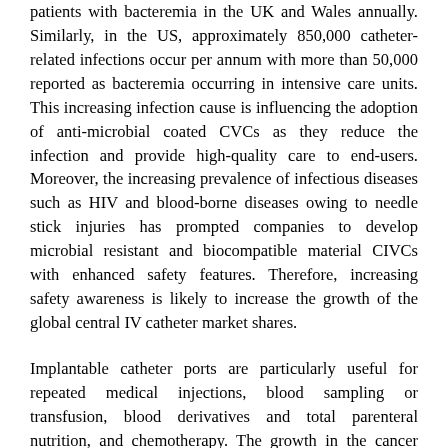patients with bacteremia in the UK and Wales annually. Similarly, in the US, approximately 850,000 catheter-related infections occur per annum with more than 50,000 reported as bacteremia occurring in intensive care units. This increasing infection cause is influencing the adoption of anti-microbial coated CVCs as they reduce the infection and provide high-quality care to end-users. Moreover, the increasing prevalence of infectious diseases such as HIV and blood-borne diseases owing to needle stick injuries has prompted companies to develop microbial resistant and biocompatible material CIVCs with enhanced safety features. Therefore, increasing safety awareness is likely to increase the growth of the global central IV catheter market shares.
Implantable catheter ports are particularly useful for repeated medical injections, blood sampling or transfusion, blood derivatives and total parenteral nutrition, and chemotherapy. The growth in the cancer population is increasing the adoption of implantable